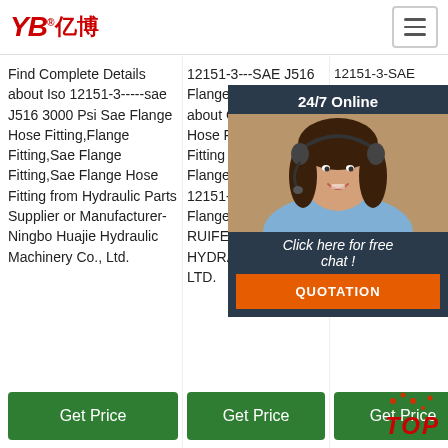YB亿博 logo and navigation header
Find Complete Details about Iso 12151-3-----sae J516 3000 Psi Sae Flange Hose Fitting,Flange Fitting,Sae Flange Fitting,Sae Flange Hose Fitting from Hydraulic Parts Supplier or Manufacturer-Ningbo Huajie Hydraulic Machinery Co., Ltd.
12151-3---SAE J516 Flange, Find details about China Hydraulic Hose Fitting, Steel Fitting from SAE Flange 3000 Psi ISO 12151-3---SAE J516 Flange - YUYAO RUIFENG HYDRAULIC CO., LTD.
12151-3-SAE J516 One Piece Fitting (87... details about One Piece Union SAE 3000 Psi SAE One Piece (875... OP... LTD
[Figure (photo): Customer service representative woman with headset smiling, overlaid chat popup with 24/7 Online header and quotation button]
Click here for free chat!
QUOTATION